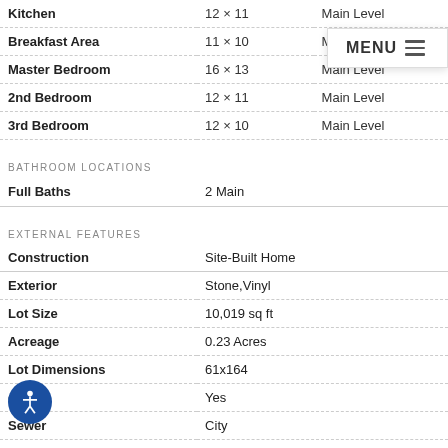| Room | Dimensions | Level |
| --- | --- | --- |
| Kitchen | 12 × 11 | Main Level |
| Breakfast Area | 11 × 10 | Main Lev… |
| Master Bedroom | 16 × 13 | Main Level |
| 2nd Bedroom | 12 × 11 | Main Level |
| 3rd Bedroom | 12 × 10 | Main Level |
BATHROOM LOCATIONS
| Type | Count/Location |
| --- | --- |
| Full Baths | 2 Main |
EXTERNAL FEATURES
| Feature | Value |
| --- | --- |
| Construction | Site-Built Home |
| Exterior | Stone,Vinyl |
| Lot Size | 10,019 sq ft |
| Acreage | 0.23 Acres |
| Lot Dimensions | 61x164 |
| …g | Yes |
| Sewer | City |